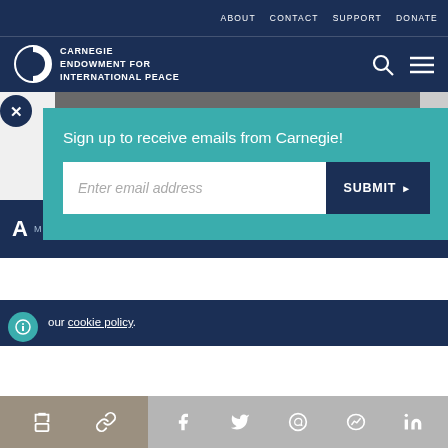ABOUT   CONTACT   SUPPORT   DONATE
[Figure (logo): Carnegie Endowment for International Peace logo with circular half-filled icon and white text]
[Figure (photo): Military jet fighters in flight, dark silhouettes against grey sky]
Sign up to receive emails from Carnegie!
Enter email address
SUBMIT ▶
our cookie policy.
[Figure (infographic): Bottom share bar with print, link, Facebook, Twitter, WhatsApp, Messenger, and LinkedIn icons]